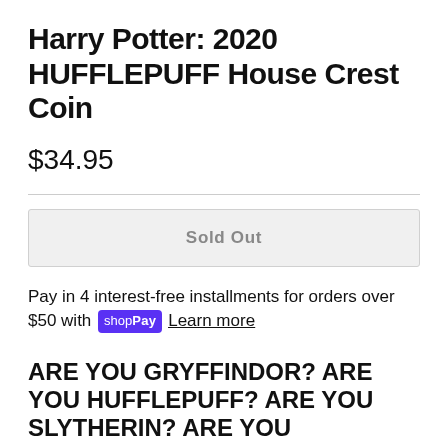Harry Potter: 2020 HUFFLEPUFF House Crest Coin
$34.95
Sold Out
Pay in 4 interest-free installments for orders over $50 with shop Pay Learn more
ARE YOU GRYFFINDOR? ARE YOU HUFFLEPUFF? ARE YOU SLYTHERIN? ARE YOU RAVENCLAW?